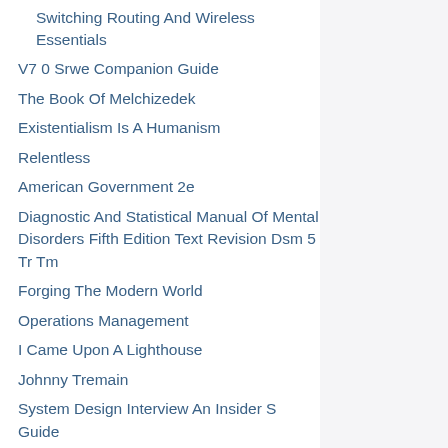Switching Routing And Wireless Essentials
V7 0 Srwe Companion Guide
The Book Of Melchizedek
Existentialism Is A Humanism
Relentless
American Government 2e
Diagnostic And Statistical Manual Of Mental Disorders Fifth Edition Text Revision Dsm 5 Tr Tm
Forging The Modern World
Operations Management
I Came Upon A Lighthouse
Johnny Tremain
System Design Interview An Insider S Guide
The Fifth Window
Imagine A World Without Dis Ease Is It Possible
The Jeffrey Dahmer Story
Project 369